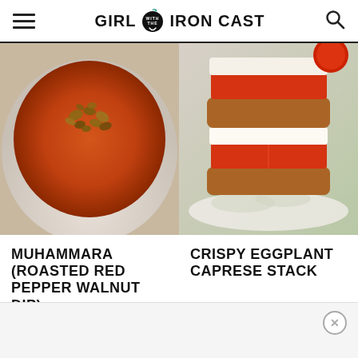GIRL WITH THE IRON CAST
[Figure (photo): Overhead view of a bowl of muhammara (roasted red pepper walnut dip) with chopped walnuts on top]
[Figure (photo): Crispy eggplant caprese stack with fried eggplant rounds, fresh mozzarella, and tomato slices on a plate with arugula]
MUHAMMARA (ROASTED RED PEPPER WALNUT DIP)
CRISPY EGGPLANT CAPRESE STACK